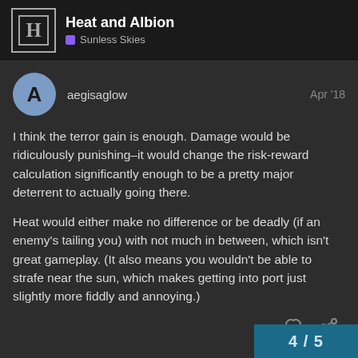Heat and Albion — Sunless Skies
aegisaglow    Apr '18
I think the terror gain is enough. Damage would be ridiculously punishing–it would change the risk-reward calculation significantly enough to be a pretty major deterrent to actually going there.

Heat would either make no difference or be deadly (if an enemy's tailing you) with not much in between, which isn't great gameplay. (It also means you wouldn't be able to strafe near the sun, which makes getting into port just slightly more fiddly and annoying.)
4 / 5